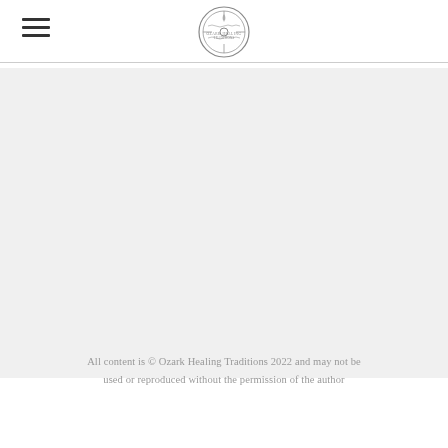[Figure (logo): Ozark Healing Traditions circular seal/logo in gray]
All content is © Ozark Healing Traditions 2022 and may not be used or reproduced without the permission of the author